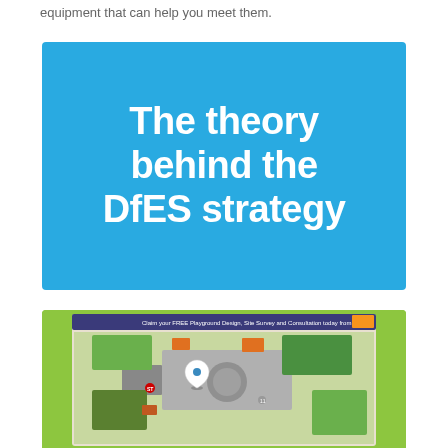equipment that can help you meet them.
[Figure (other): Blue box with white bold text reading 'The theory behind the DfES strategy']
[Figure (illustration): Green background with a playground design map/brochure showing an aerial view of a school playground layout with various zones and equipment areas. Text at top reads 'Claim your FREE Playground Design, Site Survey and Consultation today from...']